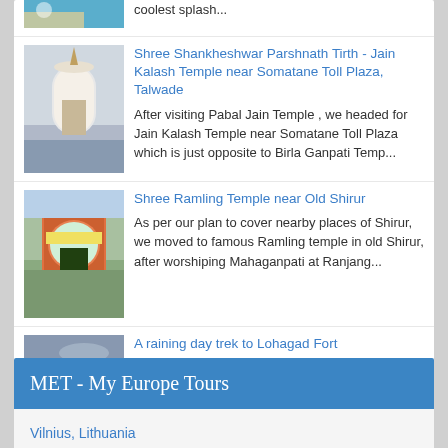coolest splash...
Shree Shankheshwar Parshnath Tirth - Jain Kalash Temple near Somatane Toll Plaza, Talwade
After visiting Pabal Jain Temple , we headed for Jain Kalash Temple near Somatane Toll Plaza which is just opposite to Birla Ganpati Temp...
Shree Ramling Temple near Old Shirur
As per our plan to cover nearby places of Shirur, we moved to famous Ramling temple in old Shirur, after worshiping Mahaganpati at Ranjang...
A raining day trek to Lohagad Fort
After trek to Bhaja caves , we continued to trek to Lohagad - The Iron Fort .  One can reach the foothill of the fort by walk approx 3 hour...
MET - My Europe Tours
Vilnius, Lithuania
Colors of Vilnius during Winters